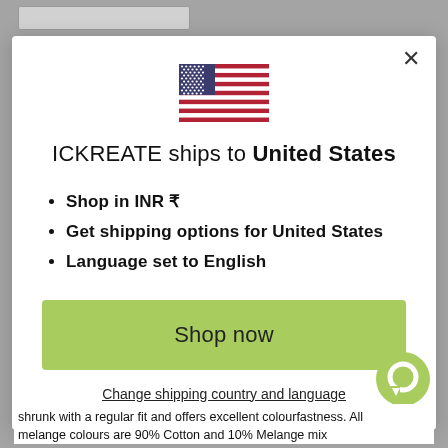[Figure (screenshot): US flag emoji displayed at top center of modal dialog]
ICKREATE ships to United States
Shop in INR ₹
Get shipping options for United States
Language set to English
Shop now
Change shipping country and language
shrunk with a regular fit and offers excellent colourfastness. All melange colours are 90% Cotton and 10% Melange mix